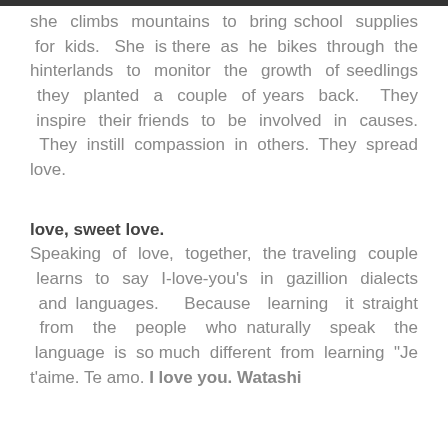she climbs mountains to bring school supplies for kids. She is there as he bikes through the hinterlands to monitor the growth of seedlings they planted a couple of years back. They inspire their friends to be involved in causes. They instill compassion in others. They spread love.
love, sweet love.
Speaking of love, together, the traveling couple learns to say I-love-you's in gazillion dialects and languages. Because learning it straight from the people who naturally speak the language is so much different from learning "Je t'aime. Te amo. I love you. Watashi wa anata o aishitemasu. Ich liebe